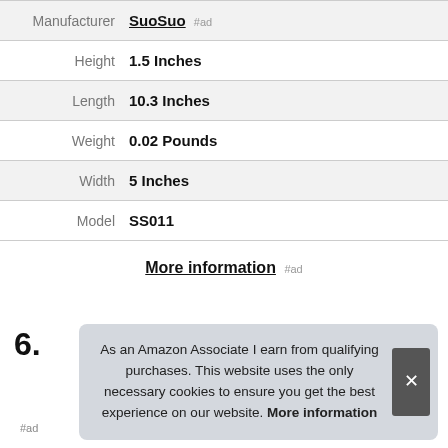| Attribute | Value |
| --- | --- |
| Manufacturer | SuoSuo #ad |
| Height | 1.5 Inches |
| Length | 10.3 Inches |
| Weight | 0.02 Pounds |
| Width | 5 Inches |
| Model | SS011 |
More information #ad
6.
As an Amazon Associate I earn from qualifying purchases. This website uses the only necessary cookies to ensure you get the best experience on our website. More information
#ad